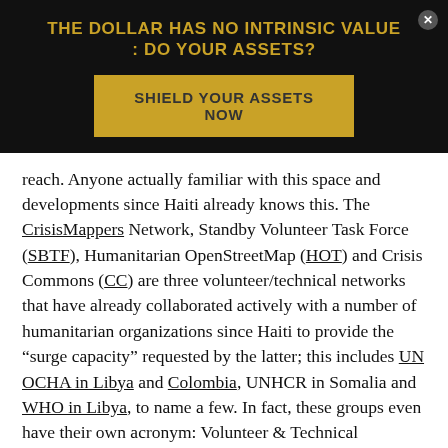[Figure (other): Advertisement banner with black background. Title: 'THE DOLLAR HAS NO INTRINSIC VALUE : DO YOUR ASSETS?' in gold text. Gold button: 'SHIELD YOUR ASSETS NOW'. Close button top right.]
reach. Anyone actually familiar with this space and developments since Haiti already knows this. The CrisisMappers Network, Standby Volunteer Task Force (SBTF), Humanitarian OpenStreetMap (HOT) and Crisis Commons (CC) are three volunteer/technical networks that have already collaborated actively with a number of humanitarian organizations since Haiti to provide the "surge capacity" requested by the latter; this includes UN OCHA in Libya and Colombia, UNHCR in Somalia and WHO in Libya, to name a few. In fact, these groups even have their own acronym: Volunteer & Technical Communities (V&TCs).
As the former head of OCHA's Information Services Section (ISS) noted after the SBTF launched the Libya Crisis Map,